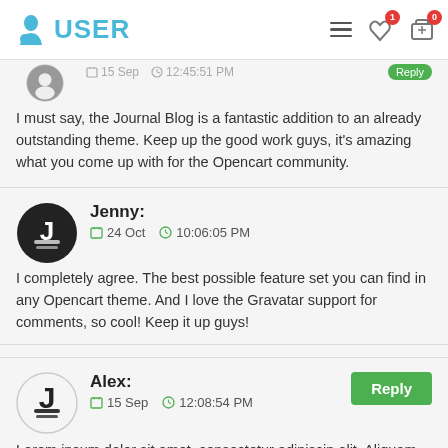USER
I must say, the Journal Blog is a fantastic addition to an already outstanding theme. Keep up the good work guys, it's amazing what you come up with for the Opencart community.
Jenny: 24 Oct 10:06:05 PM
I completely agree. The best possible feature set you can find in any Opencart theme. And I love the Gravatar support for comments, so cool! Keep it up guys!
Alex: 15 Sep 12:08:54 PM
Lorem ipsum dolor sit amet, consectetur adipiscing elit. Aliquam iaculis egestas laoreet. Etiam faucibus massa sed risus lacinia in vulputate dolor imperdiet. Curabitur pharetra